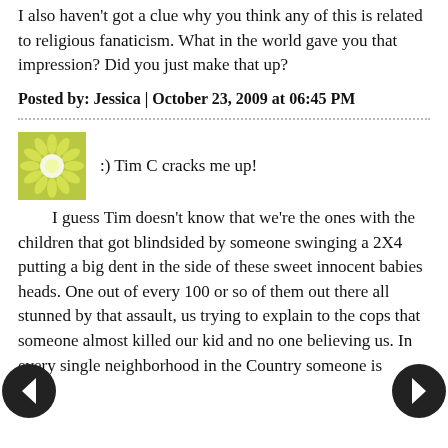I also haven't got a clue why you think any of this is related to religious fanaticism. What in the world gave you that impression? Did you just make that up?
Posted by: Jessica | October 23, 2009 at 06:45 PM
:) Tim C cracks me up!
I guess Tim doesn't know that we're the ones with the children that got blindsided by someone swinging a 2X4 putting a big dent in the side of these sweet innocent babies heads. One out of every 100 or so of them out there all stunned by that assault, us trying to explain to the cops that someone almost killed our kid and no one believing us. In every single neighborhood in the Country someone is